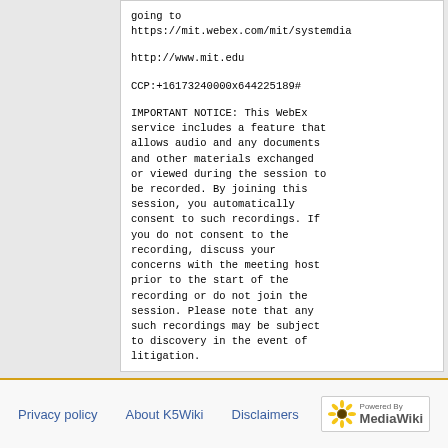going to https://mit.webex.com/mit/systemdia

http://www.mit.edu

CCP:+16173240000x644225189#

IMPORTANT NOTICE: This WebEx service includes a feature that allows audio and any documents and other materials exchanged or viewed during the session to be recorded. By joining this session, you automatically consent to such recordings. If you do not consent to the recording, discuss your concerns with the meeting host prior to the start of the recording or do not join the session. Please note that any such recordings may be subject to discovery in the event of litigation.
Privacy policy   About K5Wiki   Disclaimers   Powered By MediaWiki